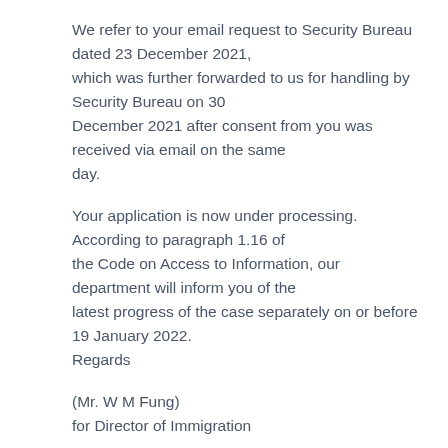We refer to your email request to Security Bureau dated 23 December 2021, which was further forwarded to us for handling by Security Bureau on 30 December 2021 after consent from you was received via email on the same day.
Your application is now under processing.  According to paragraph 1.16 of the Code on Access to Information, our department will inform you of the latest progress of the case separately on or before 19 January 2022. Regards
(Mr. W M Fung)
for Director of Immigration
From:      Raquel Amador <[FOI #933 email]>